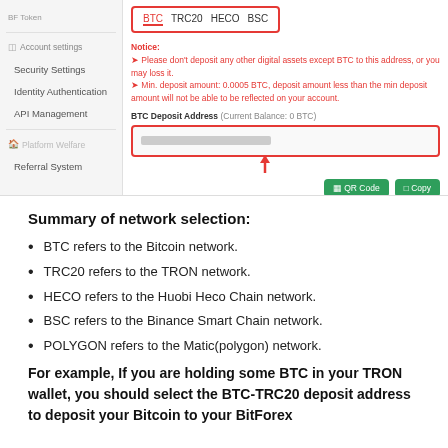[Figure (screenshot): Screenshot of a cryptocurrency exchange deposit page showing network selection tabs (BTC, TRC20, HECO, BSC) with a red border, a Notice section in red text about deposit restrictions and minimum amounts, a BTC Deposit Address field with a blurred address inside a red-bordered box, a red arrow pointing up to the address box, and QR Code and Copy buttons in green. A sidebar shows Account settings, Security Settings, Identity Authentication, API Management, Platform Welfare, and Referral System menu items.]
Summary of network selection:
BTC refers to the Bitcoin network.
TRC20 refers to the TRON network.
HECO refers to the Huobi Heco Chain network.
BSC refers to the Binance Smart Chain network.
POLYGON refers to the Matic(polygon) network.
For example, If you are holding some BTC in your TRON wallet, you should select the BTC-TRC20 deposit address to deposit your Bitcoin to your BitForex